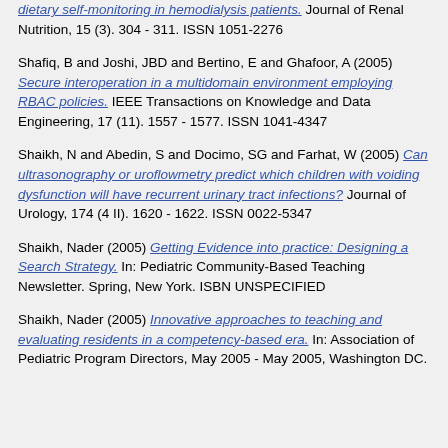dietary self-monitoring in hemodialysis patients. Journal of Renal Nutrition, 15 (3). 304 - 311. ISSN 1051-2276
Shafiq, B and Joshi, JBD and Bertino, E and Ghafoor, A (2005) Secure interoperation in a multidomain environment employing RBAC policies. IEEE Transactions on Knowledge and Data Engineering, 17 (11). 1557 - 1577. ISSN 1041-4347
Shaikh, N and Abedin, S and Docimo, SG and Farhat, W (2005) Can ultrasonography or uroflowmetry predict which children with voiding dysfunction will have recurrent urinary tract infections? Journal of Urology, 174 (4 II). 1620 - 1622. ISSN 0022-5347
Shaikh, Nader (2005) Getting Evidence into practice: Designing a Search Strategy. In: Pediatric Community-Based Teaching Newsletter. Spring, New York. ISBN UNSPECIFIED
Shaikh, Nader (2005) Innovative approaches to teaching and evaluating residents in a competency-based era. In: Association of Pediatric Program Directors, May 2005 - May 2005, Washington DC.